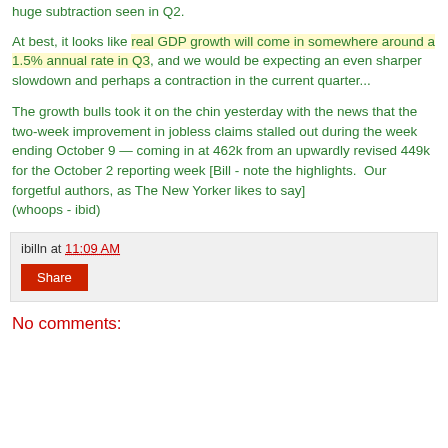huge subtraction seen in Q2.
At best, it looks like real GDP growth will come in somewhere around a 1.5% annual rate in Q3, and we would be expecting an even sharper slowdown and perhaps a contraction in the current quarter...
The growth bulls took it on the chin yesterday with the news that the two-week improvement in jobless claims stalled out during the week ending October 9 — coming in at 462k from an upwardly revised 449k for the October 2 reporting week [Bill - note the highlights.  Our forgetful authors, as The New Yorker likes to say]
(whoops - ibid)
ibilln at 11:09 AM
Share
No comments: